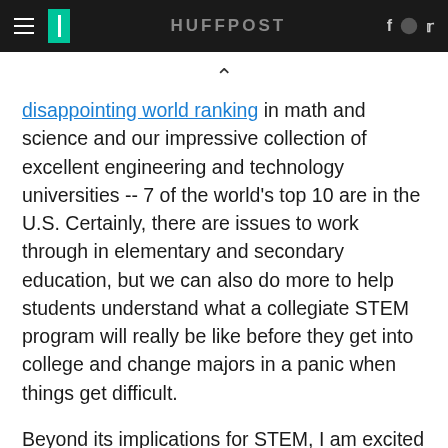HuffPost
disappointing world ranking in math and science and our impressive collection of excellent engineering and technology universities -- 7 of the world's top 10 are in the U.S. Certainly, there are issues to work through in elementary and secondary education, but we can also do more to help students understand what a collegiate STEM program will really be like before they get into college and change majors in a panic when things get difficult.
Beyond its implications for STEM, I am excited for